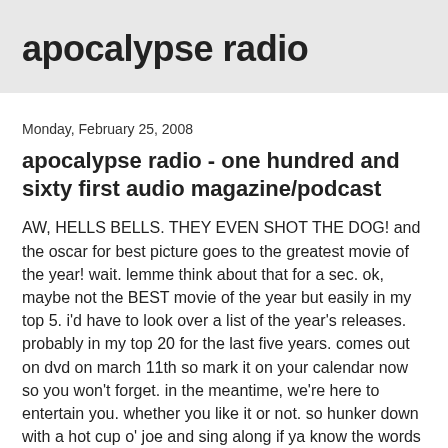apocalypse radio
Monday, February 25, 2008
apocalypse radio - one hundred and sixty first audio magazine/podcast
AW, HELLS BELLS. THEY EVEN SHOT THE DOG! and the oscar for best picture goes to the greatest movie of the year! wait. lemme think about that for a sec. ok, maybe not the BEST movie of the year but easily in my top 5. i'd have to look over a list of the year's releases. probably in my top 20 for the last five years. comes out on dvd on march 11th so mark it on your calendar now so you won't forget. in the meantime, we're here to entertain you. whether you like it or not. so hunker down with a hot cup o' joe and sing along if ya know the words - use the rss feed link on the left... or CLICK HERE, O FAITHFUL LISTENER!! or right click back there and do a "save target as" and save the mp3 on your